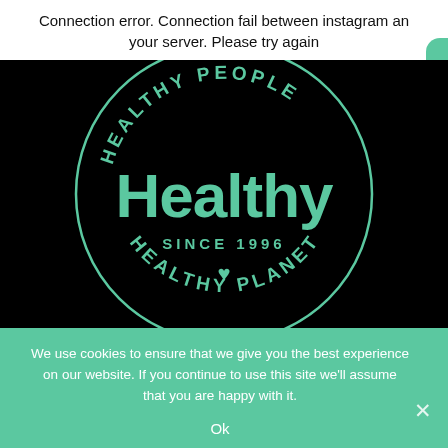Connection error. Connection fail between instagram an your server. Please try again
[Figure (logo): Circular badge logo on black background with green text reading 'HEALTHY PEOPLE' arced at top, 'Healthy' large in center, 'SINCE 1996' below, a heart icon, and 'HEALTHY PLANET' arced at bottom. All text and circle outline in mint green on black.]
We use cookies to ensure that we give you the best experience on our website. If you continue to use this site we'll assume that you are happy with it.
Ok